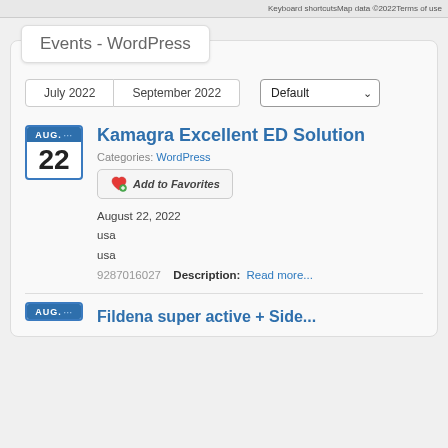Keyboard shortcuts | Map data ©2022 | Terms of use
Events - WordPress
July 2022  September 2022  Default
Kamagra Excellent ED Solution
Categories: WordPress
Add to Favorites
August 22, 2022
usa
usa
9287016027   Description: Read more...
Fildena super active + Side...